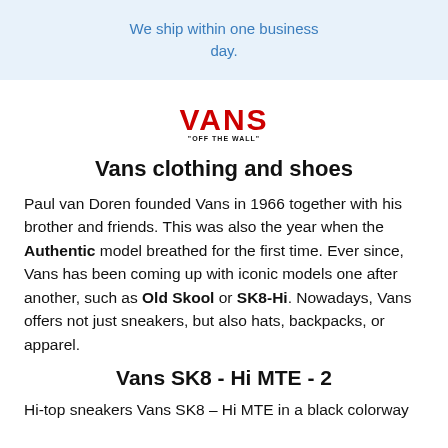We ship within one business day.
[Figure (logo): Vans 'Off The Wall' logo in red and black]
Vans clothing and shoes
Paul van Doren founded Vans in 1966 together with his brother and friends. This was also the year when the Authentic model breathed for the first time. Ever since, Vans has been coming up with iconic models one after another, such as Old Skool or SK8-Hi. Nowadays, Vans offers not just sneakers, but also hats, backpacks, or apparel.
Vans SK8 - Hi MTE - 2
Hi-top sneakers Vans SK8 – Hi MTE in a black colorway with a hi-top cut and lace-up closure.